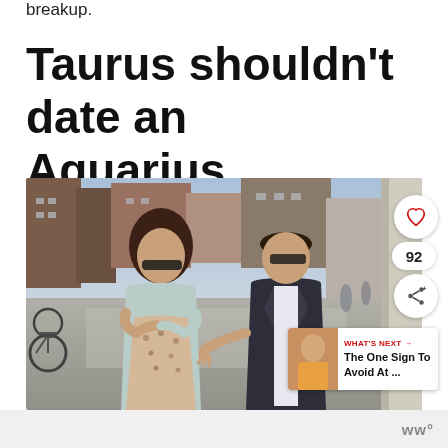breakup.
Taurus shouldn't date an Aquarius
[Figure (photo): A man and woman standing on a city street. The woman has long brown hair, sunglasses, and a floral dress with a blue cardigan, arms crossed. The man wears sunglasses and a dark suit, reaching his hand toward the woman. Urban background with buildings and pedestrians. UI overlays include a heart icon with count 92 and a share icon, plus a 'What's Next' panel showing 'The One Sign To Avoid At ...']
ww°